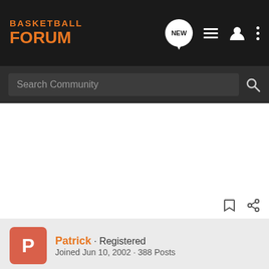BASKETBALL FORUM
Search Community
Patrick · Registered
Joined Jun 10, 2002 · 388 Posts
Discussion Starter · #7 · Jun 29, 2002
Heatlunatic, not only will we make the playoffs with that linuep we'll be a top 4 seed. If you remember that excellent 2nd half of the season when we got our act together and we started to be